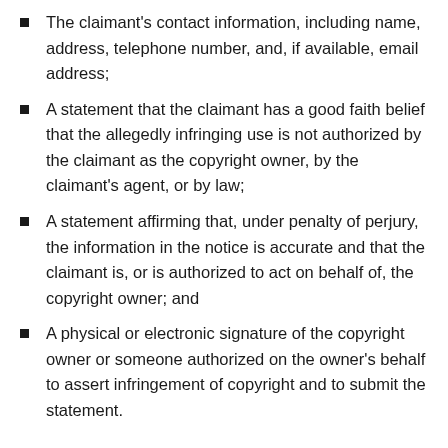The claimant's contact information, including name, address, telephone number, and, if available, email address;
A statement that the claimant has a good faith belief that the allegedly infringing use is not authorized by the claimant as the copyright owner, by the claimant's agent, or by law;
A statement affirming that, under penalty of perjury, the information in the notice is accurate and that the claimant is, or is authorized to act on behalf of, the copyright owner; and
A physical or electronic signature of the copyright owner or someone authorized on the owner's behalf to assert infringement of copyright and to submit the statement.